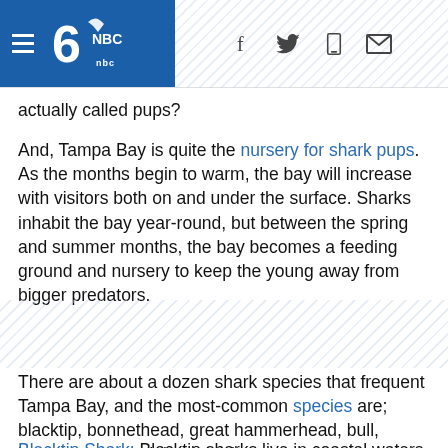NBC logo header with hamburger menu and social icons (f, twitter, phone, mail)
actually called pups?
And, Tampa Bay is quite the nursery for shark pups. As the months begin to warm, the bay will increase with visitors both on and under the surface. Sharks inhabit the bay year-round, but between the spring and summer months, the bay becomes a feeding ground and nursery to keep the young away from bigger predators.
There are about a dozen shark species that frequent Tampa Bay, and the most-common species are; blacktip, bonnethead, great hammerhead, bull, lemon, nurse and tiger sharks.
Blacktip Shark: Blacktip sharks live in coastal waters of